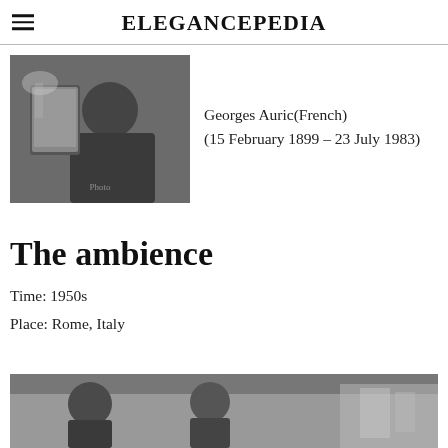ELEGANCEPEDIA
[Figure (photo): Black and white photograph of Georges Auric seated at a piano, looking at sheet music]
Georges Auric(French)
(15 February 1899 – 23 July 1983)
The ambience
Time: 1950s
Place: Rome, Italy
[Figure (photo): Black and white photograph showing people outdoors in Rome, Italy, 1950s]